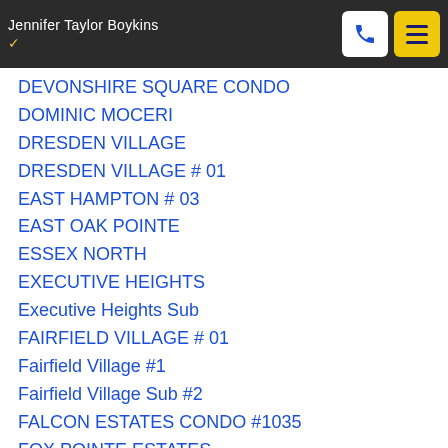Jennifer Taylor Boykins
DEVONSHIRE SQUARE CONDO
DOMINIC MOCERI
DRESDEN VILLAGE
DRESDEN VILLAGE # 01
EAST HAMPTON # 03
EAST OAK POINTE
ESSEX NORTH
EXECUTIVE HEIGHTS
Executive Heights Sub
FAIRFIELD VILLAGE # 01
Fairfield Village #1
Fairfield Village Sub #2
FALCON ESTATES CONDO #1035
FOX POINTE ESTATES
FRANCESCA
GATEWAY OAKS CONDO #760
GOLFVIEW ESTATES
GREENSBOROUGH VILLAGE